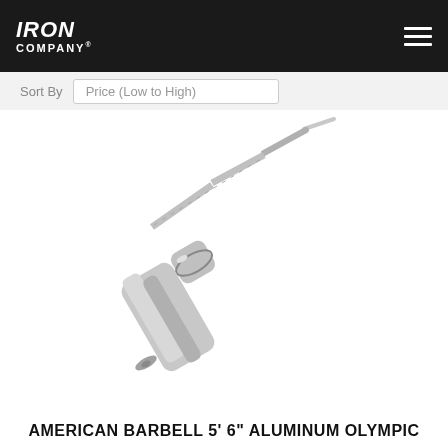IRON COMPANY®
Sort By   Price (Low to High)
[Figure (photo): A chrome/silver Olympic barbell oriented diagonally from lower-left to upper-right. The bar has a knurled grip section and a collar/sleeve junction visible near the lower-center of the image. The background is white.]
AMERICAN BARBELL 5' 6" ALUMINUM OLYMPIC